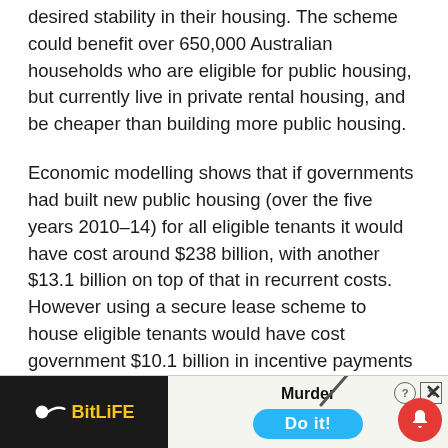desired stability in their housing. The scheme could benefit over 650,000 Australian households who are eligible for public housing, but currently live in private rental housing, and be cheaper than building more public housing.
Economic modelling shows that if governments had built new public housing (over the five years 2010–14) for all eligible tenants it would have cost around $238 billion, with another $13.1 billion on top of that in recurrent costs. However using a secure lease scheme to house eligible tenants would have cost government $10.1 billion in incentive payments to private landlords
[Figure (screenshot): Advertisement banner for BitLife mobile game showing logo on dark background, knife/murder imagery, 'Murder Do it!' text with blue button, close X button, and red notification bell icon]